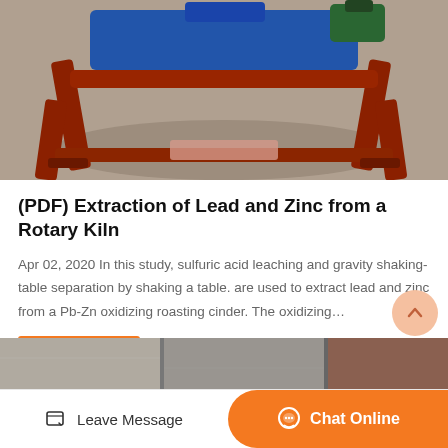[Figure (photo): Industrial machinery — a red metal frame structure with a blue component and green motor on top, photographed from above on a concrete floor.]
(PDF) Extraction of Lead and Zinc from a Rotary Kiln
Apr 02, 2020 In this study, sulfuric acid leaching and gravity shaking-table separation by shaking a table. are used to extract lead and zinc from a Pb-Zn oxidizing roasting cinder. The oxidizing…
Get Price
[Figure (photo): Partial bottom strip photo showing industrial/mining site surfaces.]
Leave Message
Chat Online